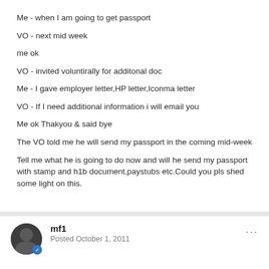Me - when I am going to get passport
VO - next mid week
me ok
VO - invited voluntirally for additonal doc
Me - I gave employer letter,HP letter,Iconma letter
VO - If I need additional information i will email you
Me ok Thakyou & said bye
The VO told me he will send my passport in the coming mid-week
Tell me what he is going to do now and will he send my passport with stamp and h1b document,paystubs etc.Could you pls shed some light on this.
mf1
Posted October 1, 2011